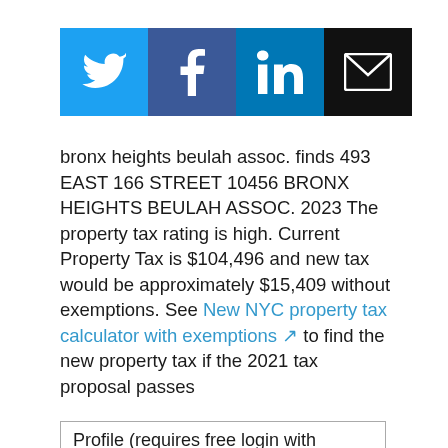[Figure (infographic): Social media sharing icons: Twitter (blue bird), Facebook (blue f), LinkedIn (blue in), Email (black envelope)]
bronx heights beulah assoc. finds 493 EAST 166 STREET 10456 BRONX HEIGHTS BEULAH ASSOC. 2023 The property tax rating is high. Current Property Tax is $104,496 and new tax would be approximately $15,409 without exemptions. See New NYC property tax calculator with exemptions ↗ to find the new property tax if the 2021 tax proposal passes
Profile (requires free login with Google Account)